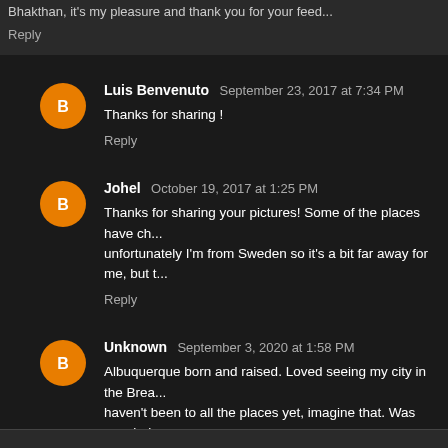Bhakthan, it's my pleasure and thank you for your feed...
Reply
Luis Benvenuto  September 23, 2017 at 7:34 PM
Thanks for sharing !
Reply
Johel  October 19, 2017 at 1:25 PM
Thanks for sharing your pictures! Some of the places have ch... unfortunately I'm from Sweden so it's a bit far away for me, but th...
Reply
Unknown  September 3, 2020 at 1:58 PM
Albuquerque born and raised. Loved seeing my city in the Brea... haven't been to all the places yet, imagine that. Was wondering ...
Reply